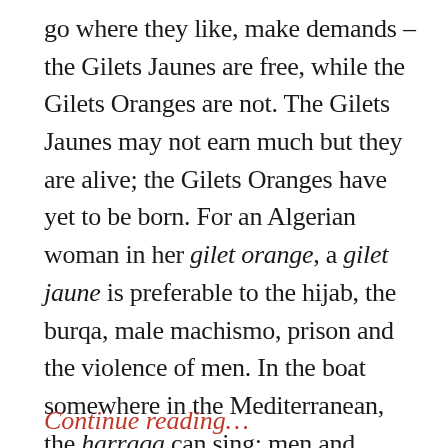go where they like, make demands – the Gilets Jaunes are free, while the Gilets Oranges are not. The Gilets Jaunes may not earn much but they are alive; the Gilets Oranges have yet to be born. For an Algerian woman in her gilet orange, a gilet jaune is preferable to the hijab, the burqa, male machismo, prison and the violence of men. In the boat somewhere in the Mediterranean, the harraga can sing; men and women squeezed together can dream. Something that their country refused them.
So how do young Algerians see the future? For them, the future is orange.
Continue reading…